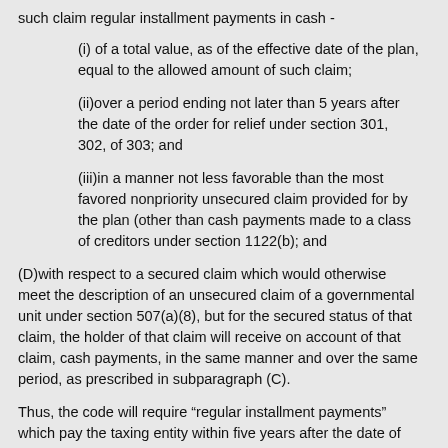such claim regular installment payments in cash -
(i) of a total value, as of the effective date of the plan, equal to the allowed amount of such claim;
(ii)over a period ending not later than 5 years after the date of the order for relief under section 301, 302, of 303; and
(iii)in a manner not less favorable than the most favored nonpriority unsecured claim provided for by the plan (other than cash payments made to a class of creditors under section 1122(b); and
(D)with respect to a secured claim which would otherwise meet the description of an unsecured claim of a governmental unit under section 507(a)(8), but for the secured status of that claim, the holder of that claim will receive on account of that claim, cash payments, in the same manner and over the same period, as prescribed in subparagraph (C).
Thus, the code will require “regular installment payments” which pay the taxing entity within five years after the date of the entry of the order, in a